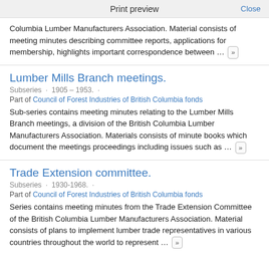Print preview   Close
Columbia Lumber Manufacturers Association. Material consists of meeting minutes describing committee reports, applications for membership, highlights important correspondence between … »
Lumber Mills Branch meetings.
Subseries · 1905 – 1953. ·
Part of Council of Forest Industries of British Columbia fonds
Sub-series contains meeting minutes relating to the Lumber Mills Branch meetings, a division of the British Columbia Lumber Manufacturers Association. Materials consists of minute books which document the meetings proceedings including issues such as … »
Trade Extension committee.
Subseries · 1930-1968. ·
Part of Council of Forest Industries of British Columbia fonds
Series contains meeting minutes from the Trade Extension Committee of the British Columbia Lumber Manufacturers Association. Material consists of plans to implement lumber trade representatives in various countries throughout the world to represent … »